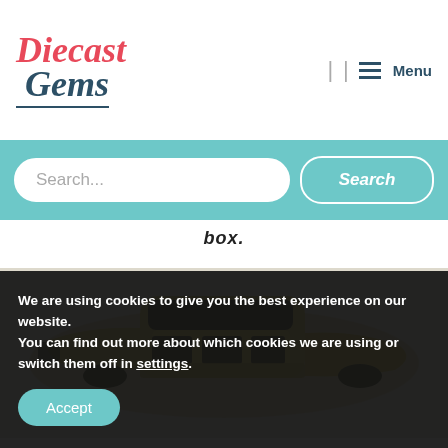[Figure (logo): Diecast Gems logo with red italic 'Diecast' and dark blue italic 'Gems' text, with underline]
[Figure (infographic): Navigation menu icon (three horizontal lines) with 'Menu' label and separator bars]
[Figure (screenshot): Teal search bar with rounded text input placeholder 'Search...' and teal Search button]
box.
[Figure (photo): Photo of a yellow/olive diecast model car viewed from above-front angle on a light background]
We are using cookies to give you the best experience on our website.
You can find out more about which cookies we are using or switch them off in settings.
Accept